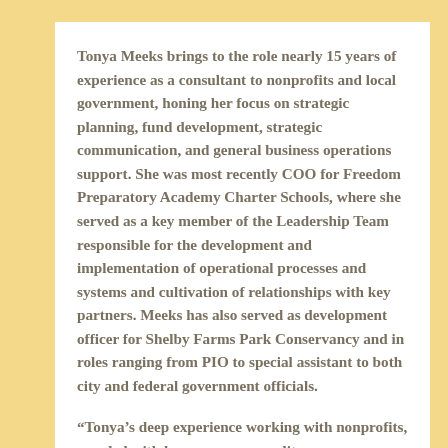Tonya Meeks brings to the role nearly 15 years of experience as a consultant to nonprofits and local government, honing her focus on strategic planning, fund development, strategic communication, and general business operations support. She was most recently COO for Freedom Preparatory Academy Charter Schools, where she served as a key member of the Leadership Team responsible for the development and implementation of operational processes and systems and cultivation of relationships with key partners. Meeks has also served as development officer for Shelby Farms Park Conservancy and in roles ranging from PIO to special assistant to both city and federal government officials.
“Tonya’s deep experience working with nonprofits, coupled with her warm personality